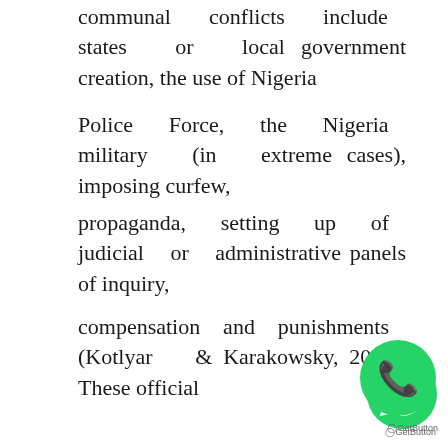communal conflicts include states or local government creation, the use of Nigeria
Police Force, the Nigeria military (in extreme cases), imposing curfew,
propaganda, setting up of judicial or administrative panels of inquiry,
compensation and punishments (Kotlyar & Karakowsky, 2006). These official
strategies have, however, not yielded adequate results since Nigeria’s
independence. For example, the creation of states, which seems to be in